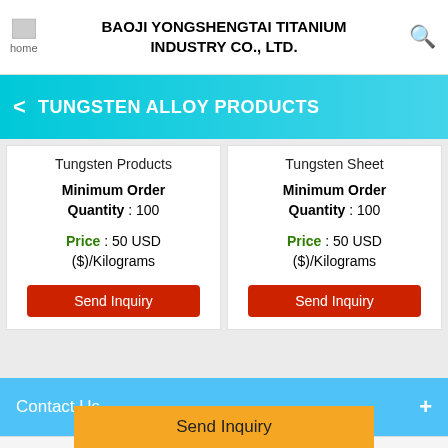BAOJI YONGSHENGTAI TITANIUM INDUSTRY CO., LTD.
TUNGSTEN ALLOY PRODUCTS
Tungsten Products
Minimum Order Quantity : 100
Price : 50 USD ($)/Kilograms
Tungsten Sheet
Minimum Order Quantity : 100
Price : 50 USD ($)/Kilograms
Contact Us
Send Inquiry